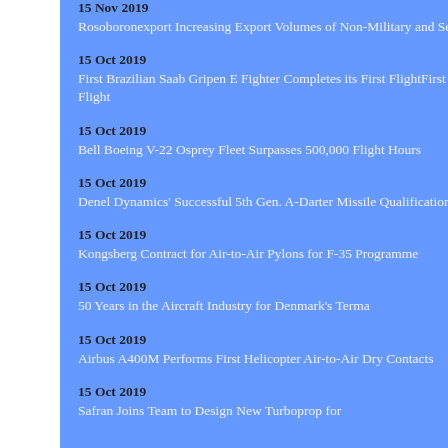15 Nov 2019
Rosoboronexport Increasing Export Volumes of Non-Military and Service Weapons
15 Oct 2019
First Brazilian Saab Gripen E Fighter Completes its First FlightFirst Brazilian Saab Gripen E Fighter Completes its First Flight
15 Oct 2019
Bell Boeing V-22 Osprey Fleet Surpasses 500,000 Flight Hours
15 Oct 2019
Denel Dynamics' Successful 5th Gen. A-Darter Missile Qualification & Certification
15 Oct 2019
Kongsberg Contract for Air-to-Air Pylons for F-35 Programme
15 Oct 2019
50 Years in the Aircraft Industry for Denmark's Terma
15 Oct 2019
Airbus A400M Performs First Helicopter Air-to-Air Dry Contacts
15 Oct 2019
Safran Joins Team to Design New Turboprop for